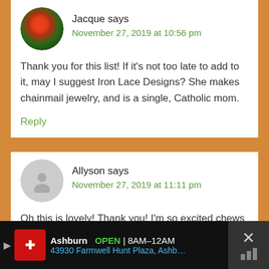Jacque says
November 27, 2019 at 10:56 pm
Thank you for this list! If it’s not too late to add to it, may I suggest Iron Lace Designs? She makes chainmail jewelry, and is a single, Catholic mom.
Reply
Allyson says
November 27, 2019 at 11:11 pm
Oh this is lovely! Thank you! I’m so excited chews life has a bigger kids option now!
Ashburn OPEN 8AM–12AM 43930 Farmwell Hunt Plaza, Ashb…